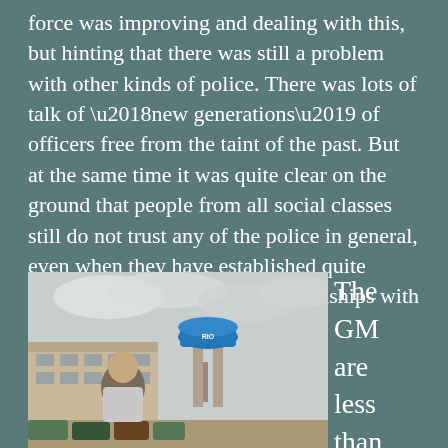force was improving and dealing with this, but hinting that there was still a problem with other kinds of police. There was lots of talk of ‘new generations’ of officers free from the taint of the past. But at the same time it was quite clear on the ground that people from all social classes still do not trust any of the police in general, even when they have established quite positive personal working relationships with officers in their own community.
[Figure (photo): A man standing in front of a building with a blue water tower labeled 'RIO' and parked vehicles, overcast sky.]
The GM are less than twen